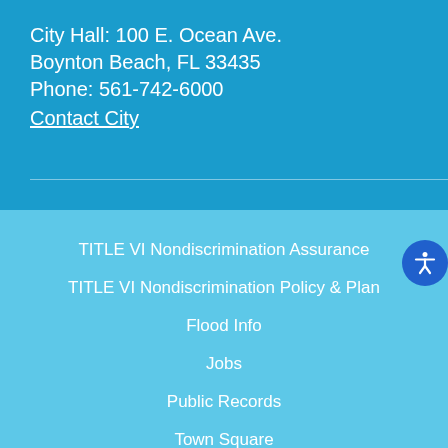City Hall: 100 E. Ocean Ave. Boynton Beach, FL 33435 Phone: 561-742-6000
Contact City
TITLE VI Nondiscrimination Assurance
TITLE VI Nondiscrimination Policy & Plan
Flood Info
Jobs
Public Records
Town Square
[Figure (other): Social media icons row: email, Twitter, Facebook, YouTube, Instagram, map pin — all in yellow/gold color on white background]